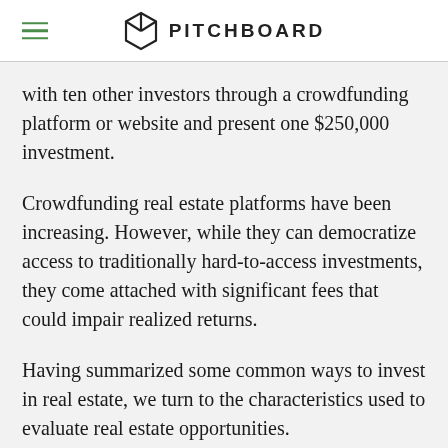PITCHBOARD
with ten other investors through a crowdfunding platform or website and present one $250,000 investment.
Crowdfunding real estate platforms have been increasing. However, while they can democratize access to traditionally hard-to-access investments, they come attached with significant fees that could impair realized returns.
Having summarized some common ways to invest in real estate, we turn to the characteristics used to evaluate real estate opportunities.